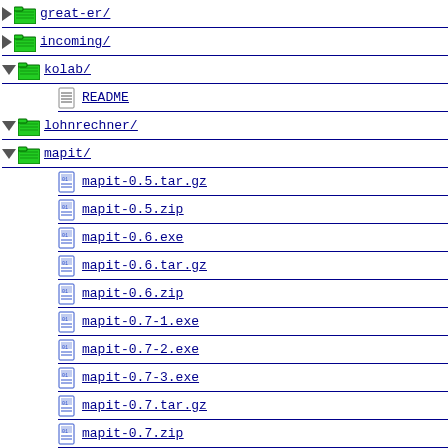great-er/
incoming/
kolab/
README
lohnrechner/
mapit/
mapit-0.5.tar.gz
mapit-0.5.zip
mapit-0.6.exe
mapit-0.6.tar.gz
mapit-0.6.zip
mapit-0.7-1.exe
mapit-0.7-2.exe
mapit-0.7-3.exe
mapit-0.7.tar.gz
mapit-0.7.zip